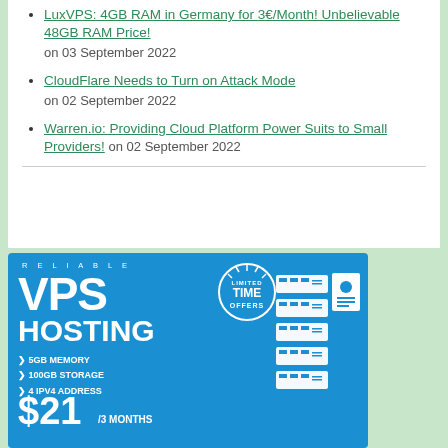LuxVPS: 4GB RAM in Germany for 3€/Month! Unbelievable 48GB RAM Price! on 03 September 2022
CloudFlare Needs to Turn on Attack Mode on 02 September 2022
Warren.io: Providing Cloud Platform Power Suits to Small Providers! on 02 September 2022
[Figure (infographic): VPS Hosting advertisement banner: blue background, text 'RELIABLE VPS HOSTING', features '5GB MEMORY, 100GB STORAGE, 4 IPV4 ADDRESS', price '$21 /3 MONTHS', 'LIMITED TIME OFFERS' badge, server rack illustrations on the right.]